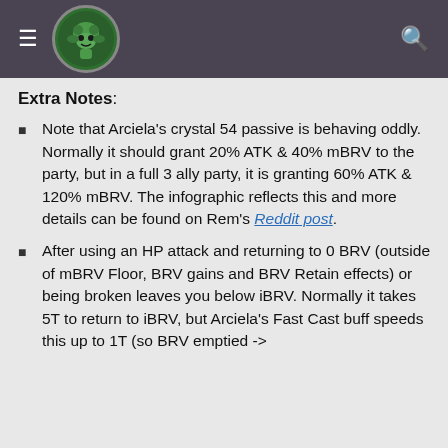Navigation header with hamburger menu, logo, and search icon
Extra Notes:
Note that Arciela's crystal 54 passive is behaving oddly. Normally it should grant 20% ATK & 40% mBRV to the party, but in a full 3 ally party, it is granting 60% ATK & 120% mBRV. The infographic reflects this and more details can be found on Rem's Reddit post.
After using an HP attack and returning to 0 BRV (outside of mBRV Floor, BRV gains and BRV Retain effects) or being broken leaves you below iBRV. Normally it takes 5T to return to iBRV, but Arciela's Fast Cast buff speeds this up to 1T (so BRV emptied ->